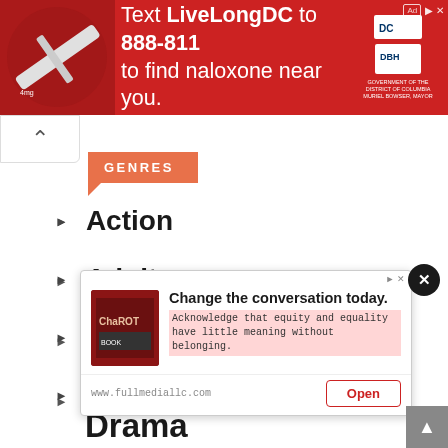[Figure (screenshot): Red advertisement banner: Text LiveLongDC to 888-811 to find naloxone near you. DC government health department logos on right side.]
[Figure (screenshot): Navigation back chevron button (up arrow) in white box at top left of content area.]
GENRES
Action
Adult
Adventure
Cartoon
Comedy
[Figure (screenshot): Advertisement: Change the conversation today. Acknowledge that equity and equality have little meaning without belonging. www.fullmediallc.com with Open button. ChaROT book cover image on left.]
Drama